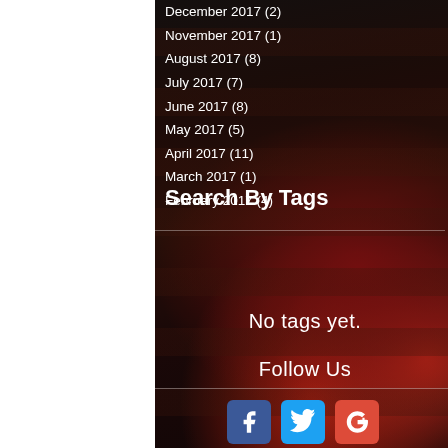December 2017 (2)
November 2017 (1)
August 2017 (8)
July 2017 (7)
June 2017 (8)
May 2017 (5)
April 2017 (11)
March 2017 (1)
February 2017 (4)
Search By Tags
No tags yet.
Follow Us
[Figure (illustration): Social media icons: Facebook (blue), Twitter (light blue), Google+ (red)]